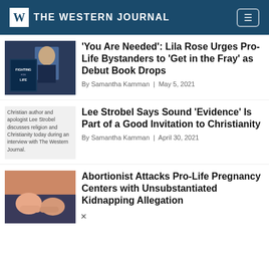THE WESTERN JOURNAL
'You Are Needed': Lila Rose Urges Pro-Life Bystanders to 'Get in the Fray' as Debut Book Drops
By Samantha Kamman | May 5, 2021
[Figure (photo): Woman holding a book titled 'Fighting for Life']
Lee Strobel Says Sound 'Evidence' Is Part of a Good Invitation to Christianity
By Samantha Kamman | April 30, 2021
[Figure (photo): Christian author and apologist Lee Strobel discusses religion and Christianity today during an interview with The Western Journal.]
Abortionist Attacks Pro-Life Pregnancy Centers with Unsubstantiated Kidnapping Allegation
[Figure (photo): Two people holding hands, medical setting]